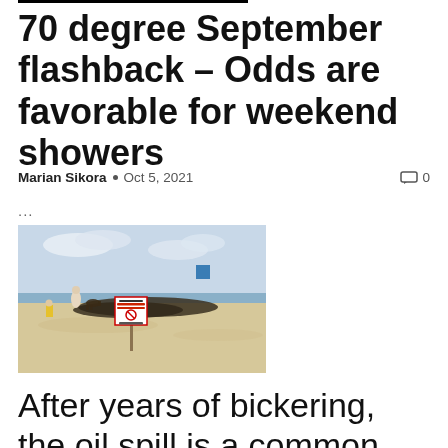70 degree September flashback – Odds are favorable for weekend showers
Marian Sikora • Oct 5, 2021   0
...
[Figure (photo): Beach scene with a 'The Water Is Closed' warning sign on a stick in the sand, with a person and dog in the background near dark seaweed on the shore.]
After years of bickering, the oil spill is a common enemy for